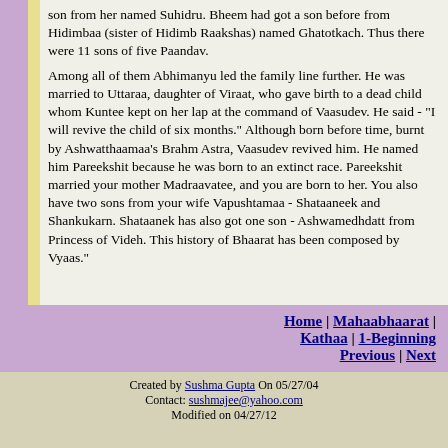son from her named Suhidru. Bheem had got a son before from Hidimbaa (sister of Hidimb Raakshas) named Ghatotkach. Thus there were 11 sons of five Paandav.
Among all of them Abhimanyu led the family line further. He was married to Uttaraa, daughter of Viraat, who gave birth to a dead child whom Kuntee kept on her lap at the command of Vaasudev. He said - "I will revive the child of six months." Although born before time, burnt by Ashwatthaamaa's Brahm Astra, Vaasudev revived him. He named him Pareekshit because he was born to an extinct race. Pareekshit married your mother Madraavatee, and you are born to her. You also have two sons from your wife Vapushtamaa - Shataaneek and Shankukarn. Shataanek has also got one son - Ashwamedhdatt from Princess of Videh. This history of Bhaarat has been composed by Vyaas."
Home | Mahaabhaarat | Kathaa | 1-Beginning
Previous | Next
Created by Sushma Gupta On 05/27/04
Contact: sushmajee@yahoo.com
Modified on 04/27/12